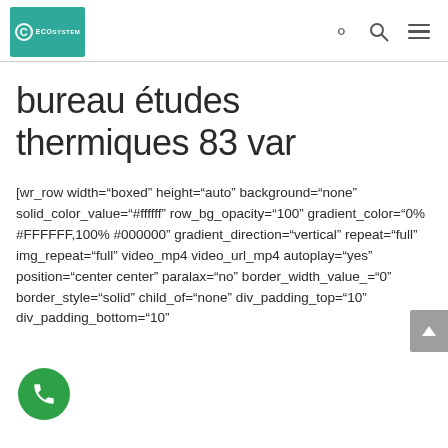ECOSYSTEM logo, search icon, menu icon
bureau études thermiques 83 var
[wr_row width="boxed" height="auto" background="none" solid_color_value="#ffffff" row_bg_opacity="100" gradient_color="0% #FFFFFF,100% #000000" gradient_direction="vertical" repeat="full" img_repeat="full" video_mp4 video_url_mp4 autoplay="yes" position="center center" paralax="no" border_width_value_="0" border_style="solid" child_of="none" div_padding_top="10" div_padding_bottom="10"